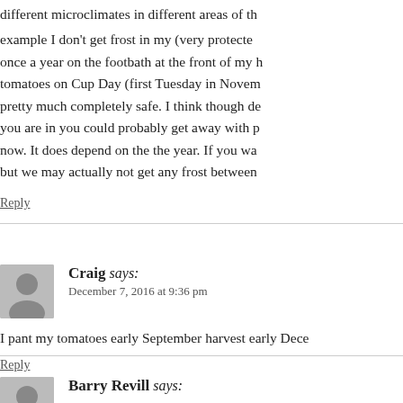different microclimates in different areas of the example I don't get frost in my (very protected once a year on the footbath at the front of my h tomatoes on Cup Day (first Tuesday in Novem pretty much completely safe. I think though de you are in you could probably get away with p now. It does depend on the the year. If you wa but we may actually not get any frost between
Reply
Craig says:
December 7, 2016 at 9:36 pm
I pant my tomatoes early September harvest early Dece
Reply
Barry Revill says: